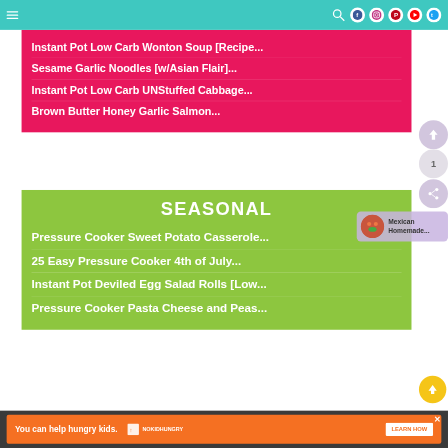Navigation bar with menu icon and social icons (search, Facebook, Instagram, Pinterest, YouTube, Twitter)
Instant Pot Low Carb Wonton Soup [Recipe...
Sesame Garlic Noodles [w/Asian Flair]...
Instant Pot Low Carb UNStuffed Cabbage...
Brown Butter Honey Garlic Salmon...
SEASONAL
Pressure Cooker Sweet Potato Casserole...
25 Easy Pressure Cooker 4th of July...
Instant Pot Deviled Egg Salad Rolls [Low...
Pressure Cooker Pasta Cheese and Peas...
Mexican Homemade...
You can help hungry kids. NOKID HUNGRY LEARN HOW